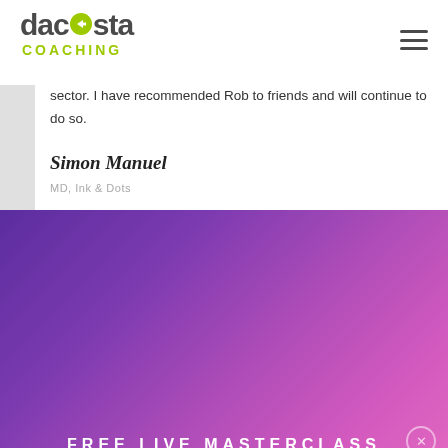[Figure (logo): DaCosta Coaching logo with arrow icon and green COACHING text]
sector. I have recommended Rob to friends and will continue to do so.
Simon Manuel
MD, Ink & Dots
FREE LIVE MASTERCLASS
Elevate Your Role To CEO & Build a Self-Running Agency
20 DAYS  18 HOURS  56 MINUTES  20 SECONDS
Learn More & Save Your Seat